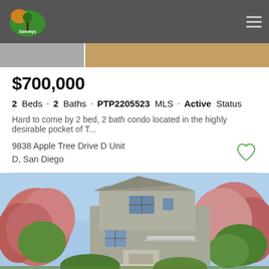Sammys Realty logo and navigation
[Figure (photo): Partial property image strip showing interior photos]
$700,000
2 Beds · 2 Baths · PTP2205523 MLS · Active Status
Hard to come by 2 bed, 2 bath condo located in the highly desirable pocket of T...
9838 Apple Tree Drive D Unit D, San Diego
Listing courtesy of Listing Agent: Allison Seiler from Listing Office: Big Block Realty, Inc
[Figure (photo): Exterior photo of a two-story stucco house with flowering trees]